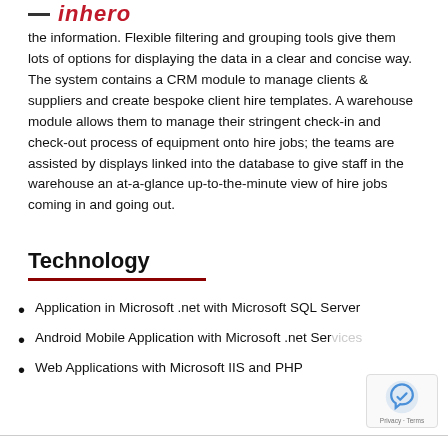— inhero
the information. Flexible filtering and grouping tools give them lots of options for displaying the data in a clear and concise way. The system contains a CRM module to manage clients & suppliers and create bespoke client hire templates. A warehouse module allows them to manage their stringent check-in and check-out process of equipment onto hire jobs; the teams are assisted by displays linked into the database to give staff in the warehouse an at-a-glance up-to-the-minute view of hire jobs coming in and going out.
Technology
Application in Microsoft .net with Microsoft SQL Server
Android Mobile Application with Microsoft .net Services
Web Applications with Microsoft IIS and PHP